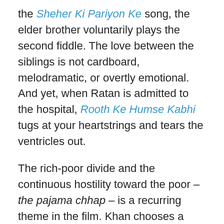the Sheher Ki Pariyon Ke song, the elder brother voluntarily plays the second fiddle. The love between the siblings is not cardboard, melodramatic, or overtly emotional. And yet, when Ratan is admitted to the hospital, Rooth Ke Humse Kabhi tugs at your heartstrings and tears the ventricles out.
The rich-poor divide and the continuous hostility toward the poor – the pajama chhap – is a recurring theme in the film. Khan chooses a rather interesting cinematic device to reveal Sanju's poverty to Devika. A dance sequence featuring a Chaplinesque Sanju, complete with tattered clothes. But you see the light at the end of the tunnel when you hear the Model School team mouthing the lines, Yeh Maana Abhi Hain Khaali Haath, Na Honge Sada Yahi Din Raat, Kabhi Toh Banegi Apni Baat, Arre Yaaron, Mere Dost...